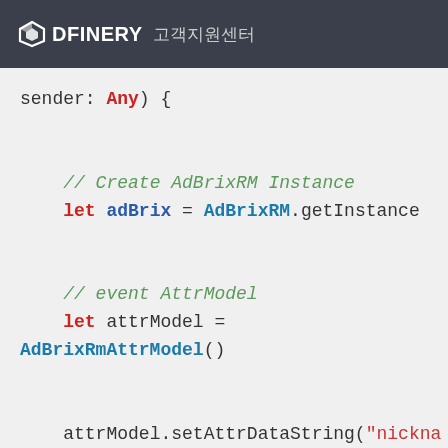DFINERY 고객지원센터
sender: Any) {

// Create AdBrixRM Instance
let adBrix = AdBrixRM.getInstance

// event AttrModel
let attrModel =
AdBrixRmAttrModel()

attrModel.setAttrDataString("nickname", "peter")